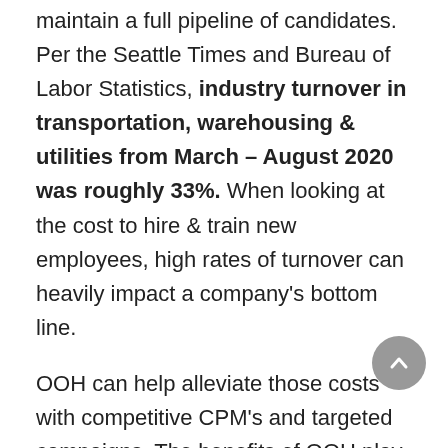maintain a full pipeline of candidates. Per the Seattle Times and Bureau of Labor Statistics, industry turnover in transportation, warehousing & utilities from March – August 2020 was roughly 33%. When looking at the cost to hire & train new employees, high rates of turnover can heavily impact a company's bottom line.
OOH can help alleviate those costs with competitive CPM's and targeted campaigns. The benefits of OOH play a similar role in recruitment campaigns as they do in branding; amplifying a campaign's reach & frequency by creating touchpoints at various times during a candidate's daily routine. Because frequency is another one of Out of Home's strengths, maintaining an active and consistent presence in the market can help employers stay top of mind for potential employees when they enter the job market